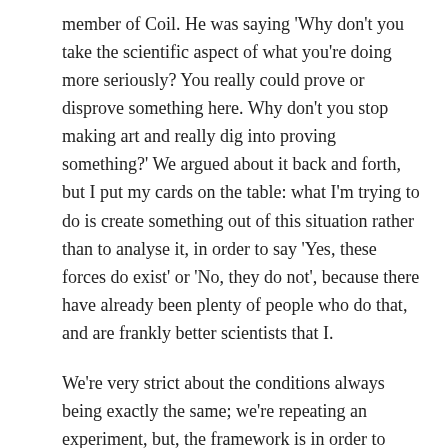member of Coil. He was saying 'Why don't you take the scientific aspect of what you're doing more seriously? You really could prove or disprove something here. Why don't you stop making art and really dig into proving something?' We argued about it back and forth, but I put my cards on the table: what I'm trying to do is create something out of this situation rather than to analyse it, in order to say 'Yes, these forces do exist' or 'No, they do not', because there have already been plenty of people who do that, and are frankly better scientists that I.
We're very strict about the conditions always being exactly the same; we're repeating an experiment, but, the framework is in order to make art. An experimental setting grants the context for a certain kind of content to appear and that content is going to help us to create music.
But you don't invest one way or another in whether or not it is